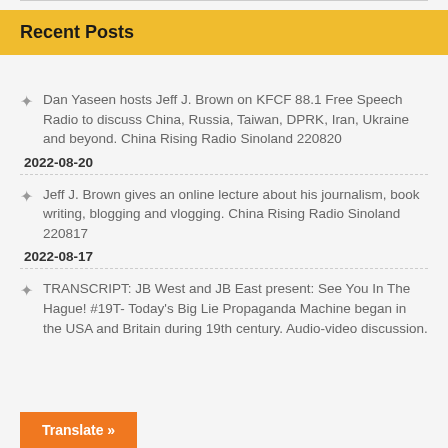Recent Posts
Dan Yaseen hosts Jeff J. Brown on KFCF 88.1 Free Speech Radio to discuss China, Russia, Taiwan, DPRK, Iran, Ukraine and beyond. China Rising Radio Sinoland 220820
2022-08-20
Jeff J. Brown gives an online lecture about his journalism, book writing, blogging and vlogging. China Rising Radio Sinoland 220817
2022-08-17
TRANSCRIPT: JB West and JB East present: See You In The Hague! #19T- Today's Big Lie Propaganda Machine began in the USA and Britain during 19th century. Audio-video discussion.